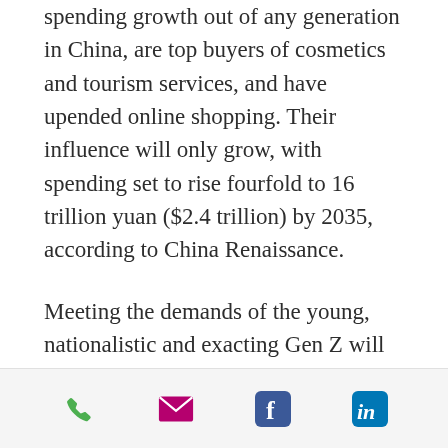spending growth out of any generation in China, are top buyers of cosmetics and tourism services, and have upended online shopping. Their influence will only grow, with spending set to rise fourfold to 16 trillion yuan ($2.4 trillion) by 2035, according to China Renaissance.
Meeting the demands of the young, nationalistic and exacting Gen Z will require an immense shift in how Western companies -- who have bet that decades of demand for foreign goods will endure -- do business in China and poses an unprecedented challenge to their market dominance. It also sets the
[Figure (infographic): Mobile share bar with four social/contact icons: phone (green), email (magenta/pink), Facebook (blue), LinkedIn (blue)]